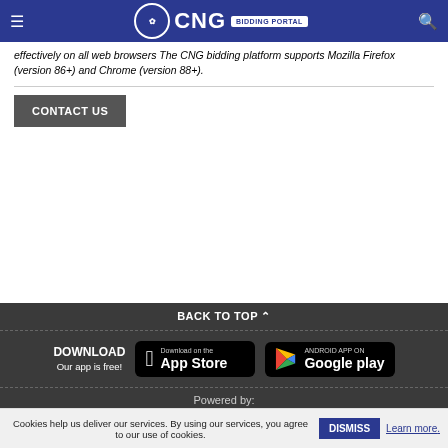CNG BIDDING PORTAL
effectively on all web browsers The CNG bidding platform supports Mozilla Firefox (version 86+) and Chrome (version 88+).
CONTACT US
BACK TO TOP
DOWNLOAD Our app is free!
Download on the App Store
ANDROID APP ON Google play
Powered by:
Cookies help us deliver our services. By using our services, you agree to our use of cookies. DISMISS Learn more.